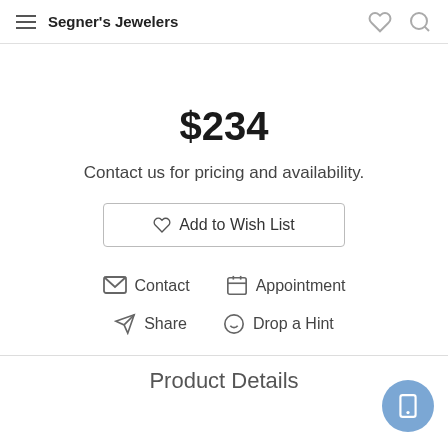Segner's Jewelers
$234
Contact us for pricing and availability.
Add to Wish List
Contact
Appointment
Share
Drop a Hint
Product Details